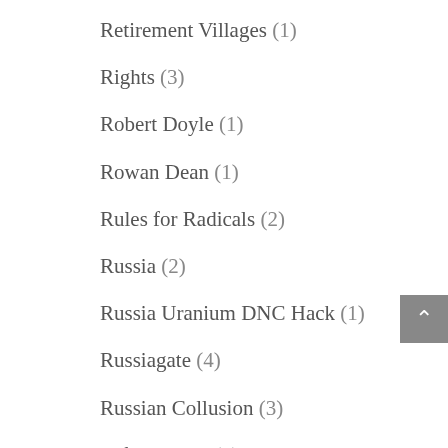Retirement Villages (1)
Rights (3)
Robert Doyle (1)
Rowan Dean (1)
Rules for Radicals (2)
Russia (2)
Russia Uranium DNC Hack (1)
Russiagate (4)
Russian Collusion (3)
Safe Schools (7)
Sally McManus (1)
Same Sex Marriage (5)